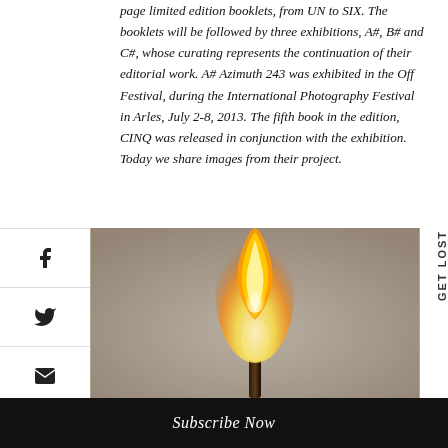page limited edition booklets, from UN to SIX. The booklets will be followed by three exhibitions, A#, B# and C#, whose curating represents the continuation of their editorial work. A# Azimuth 243 was exhibited in the Off Festival, during the International Photography Festival in Arles, July 2-8, 2013. The fifth book in the edition, CINQ was released in conjunction with the exhibition. Today we share images from their project.
[Figure (photo): A burning rolled-up piece of paper or document acting like a torch, with flame at the top, against a gray-beige background.]
Subscribe Now